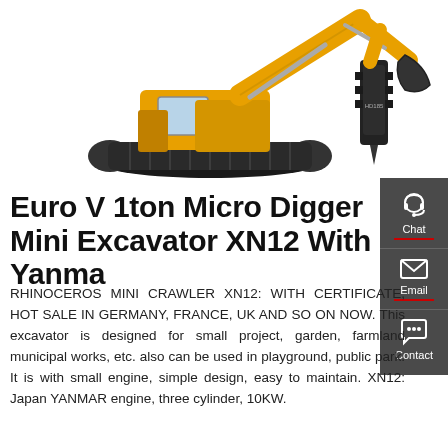[Figure (photo): Yellow excavator/mini digger and a separate hydraulic hammer attachment shown on white background]
Euro V 1ton Micro Digger Mini Excavator XN12 With Yanmar
RHINOCEROS MINI CRAWLER XN12: WITH CERTIFICATE, HOT SALE IN GERMANY, FRANCE, UK AND SO ON NOW. This excavator is designed for small project, garden, farmland municipal works, etc. also can be used in playground, public park. It is with small engine, simple design, easy to maintain. XN12: Japan YANMAR engine, three cylinder, 10KW.